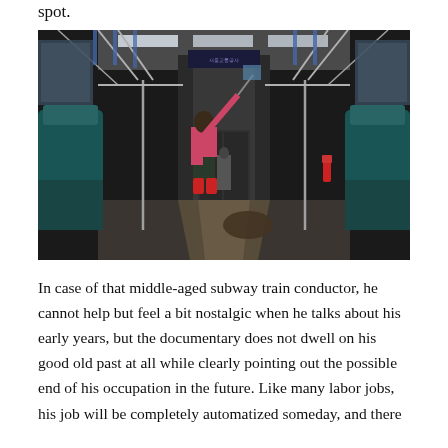spot.
[Figure (photo): Interior of an empty subway train car. A person wearing a pink jacket, dark pants, and red shoes stands in the aisle cleaning the overhead handrails with a mop-like tool. The train car has teal/green seats on both sides, large windows, and the aisle leads toward a door at the far end where another figure can be seen. Fluorescent lights illuminate the ceiling. Natural sunlight creates patterns on the floor.]
In case of that middle-aged subway train conductor, he cannot help but feel a bit nostalgic when he talks about his early years, but the documentary does not dwell on his good old past at all while clearly pointing out the possible end of his occupation in the future. Like many labor jobs, his job will be completely automatized someday, and there